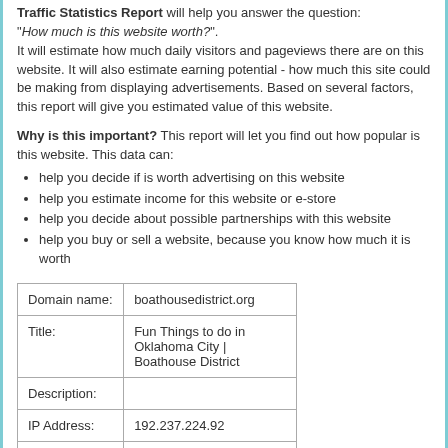Traffic Statistics Report will help you answer the question: "How much is this website worth?". It will estimate how much daily visitors and pageviews there are on this website. It will also estimate earning potential - how much this site could be making from displaying advertisements. Based on several factors, this report will give you estimated value of this website.
Why is this important? This report will let you find out how popular is this website. This data can:
help you decide if is worth advertising on this website
help you estimate income for this website or e-store
help you decide about possible partnerships with this website
help you buy or sell a website, because you know how much it is worth
|  |  |
| --- | --- |
| Domain name: | boathousedistrict.org |
| Title: | Fun Things to do in Oklahoma City | Boathouse District |
| Description: |  |
| IP Address: | 192.237.224.92 |
| Reverse DNS: |  |